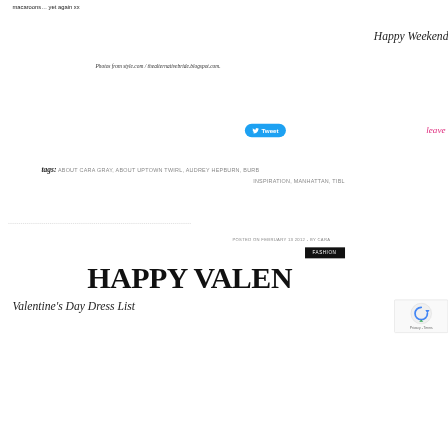macaroons… yet again xx
Happy Weekend!
Photos from style.com / thealternativebride.blogspot.com.
[Figure (other): Twitter Tweet button in blue rounded rectangle]
leave a
tags: ABOUT CARA GRAY, ABOUT UPTOWN TWIRL, AUDREY HEPBURN, BURB… INSPIRATION, MANHATTAN, TIBL…
POSTED ON FEBRUARY 13 2012 - BY CARA
FASHION
HAPPY VALEN
Valentine's Day Dress List
[Figure (other): reCAPTCHA widget with arrow icon, Privacy and Terms text]